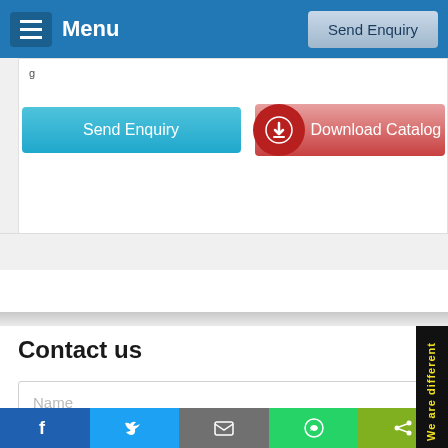Menu | Send Enquiry
[Figure (screenshot): White card area with Send Enquiry (blue) and Download Catalog (red) buttons]
Contact us
Name
E-Mail ID
(XXX) XXX-XXXX
Add Enquiry Details
Facebook | Twitter | Email | WhatsApp | Share